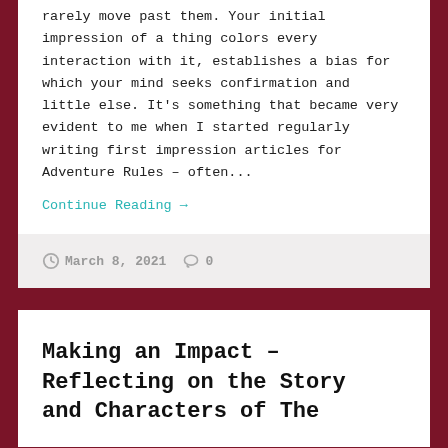rarely move past them. Your initial impression of a thing colors every interaction with it, establishes a bias for which your mind seeks confirmation and little else. It's something that became very evident to me when I started regularly writing first impression articles for Adventure Rules – often...
Continue Reading →
March 8, 2021  0
Making an Impact – Reflecting on the Story and Characters of The